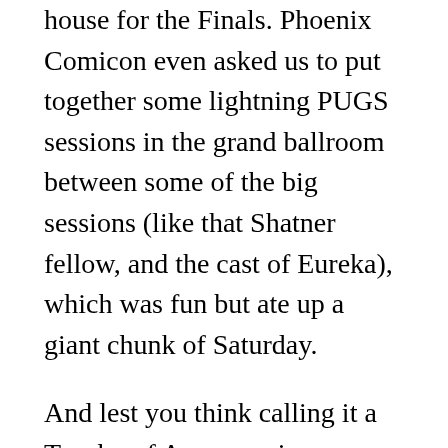house for the Finals. Phoenix Comicon even asked us to put together some lightning PUGS sessions in the grand ballroom between some of the big sessions (like that Shatner fellow, and the cast of Eureka), which was fun but ate up a giant chunk of Saturday.
And lest you think calling it a Trophy of Awesome is an exaggeration, it featured an action figure of Frodo riding a tiger, a Stormtrooper bobblehead atop an AT-AT, Rorschach, Pinhead, and yellow roses all around. Truly a masterpiece of geekery if every such a thing existed.
Geek Smackdown returns to Phoenix